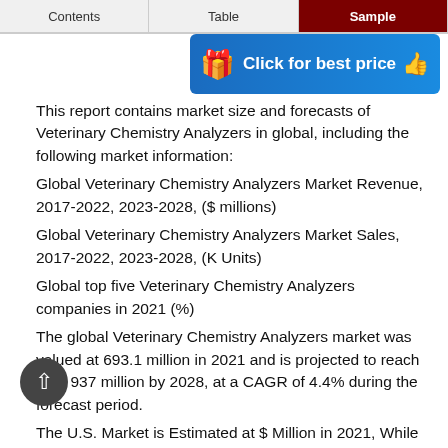Contents | Table | Sample
[Figure (other): Blue promotional banner with gift emoji and text: Click for best price with thumbs up emoji]
This report contains market size and forecasts of Veterinary Chemistry Analyzers in global, including the following market information:
Global Veterinary Chemistry Analyzers Market Revenue, 2017-2022, 2023-2028, ($ millions)
Global Veterinary Chemistry Analyzers Market Sales, 2017-2022, 2023-2028, (K Units)
Global top five Veterinary Chemistry Analyzers companies in 2021 (%)
The global Veterinary Chemistry Analyzers market was valued at 693.1 million in 2021 and is projected to reach US$ 937 million by 2028, at a CAGR of 4.4% during the forecast period.
The U.S. Market is Estimated at $ Million in 2021, While China is Forecast to Reach $ Million by 2028. Chemistry Analyzers Segment to Reach $ Million by 2028, with a % CAGR in next six years.